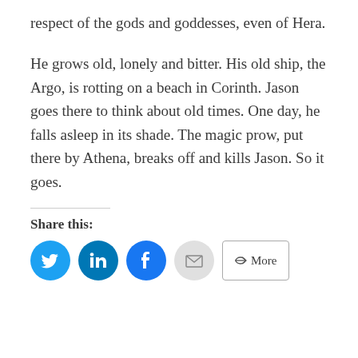respect of the gods and goddesses, even of Hera.
He grows old, lonely and bitter. His old ship, the Argo, is rotting on a beach in Corinth. Jason goes there to think about old times. One day, he falls asleep in its shade. The magic prow, put there by Athena, breaks off and kills Jason. So it goes.
Share this: